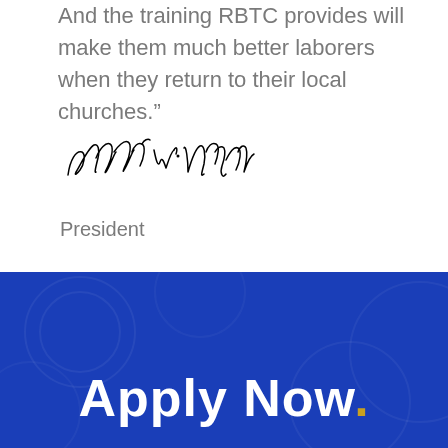And the training RBTC provides will make them much better laborers when they return to their local churches."
[Figure (illustration): Handwritten signature reading 'Kenneth W. Hagin']
President
Apply Now.